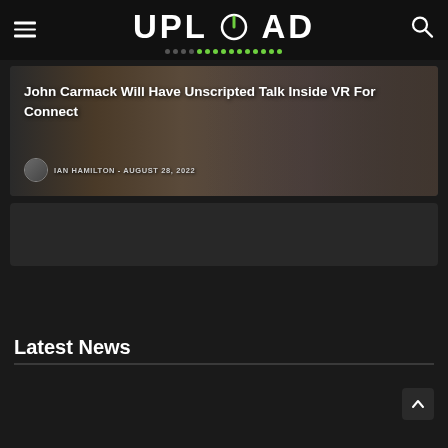UPLOAD
John Carmack Will Have Unscripted Talk Inside VR For Connect
IAN HAMILTON - AUGUST 28, 2022
[Figure (screenshot): Website screenshot of Upload VR showing a featured article with John Carmack, a dark-themed news website header with logo, navigation icons, featured article card with photo background, and Latest News section]
Latest News